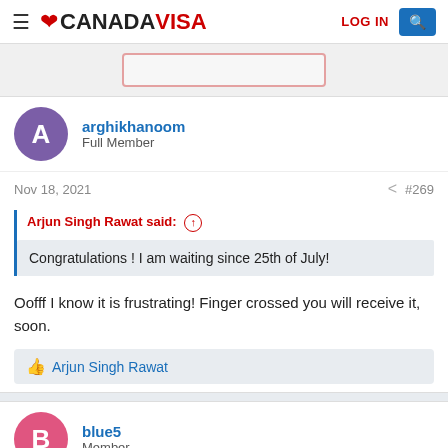CANADA VISA  LOG IN
[Figure (screenshot): Blurred/redacted content area with a red-outlined box]
arghikhanoom
Full Member
Nov 18, 2021  #269
Arjun Singh Rawat said:
Congratulations ! I am waiting since 25th of July!
Oofff I know it is frustrating! Finger crossed you will receive it, soon.
Arjun Singh Rawat
blue5
Member